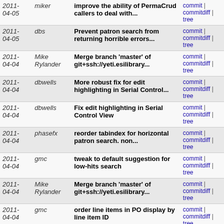| Date | Author | Message | Links |
| --- | --- | --- | --- |
| 2011-04-05 | miker | improve the ability of PermaCrud callers to deal with... | commit | commitdiff | tree |
| 2011-04-05 | dbs | Prevent patron search from returning horrible errors... | commit | commitdiff | tree |
| 2011-04-04 | Mike Rylander | Merge branch 'master' of git+ssh://yeti.esilibrary... | commit | commitdiff | tree |
| 2011-04-04 | dbwells | More robust fix for edit highlighting in Serial Control... | commit | commitdiff | tree |
| 2011-04-04 | dbwells | Fix edit highlighting in Serial Control View | commit | commitdiff | tree |
| 2011-04-04 | phasefx | reorder tabindex for horizontal patron search. non... | commit | commitdiff | tree |
| 2011-04-04 | gmc | tweak to default suggestion for low-hits search | commit | commitdiff | tree |
| 2011-04-04 | Mike Rylander | Merge branch 'master' of git+ssh://yeti.esilibrary... | commit | commitdiff | tree |
| 2011-04-04 | gmc | order line items in PO display by line item ID | commit | commitdiff | tree |
| 2011-04-04 | phasefx | re-fix senator's fixes that I mangled | commit | commitdiff | tree |
| 2011-04-04 | phasefx | Client Permission Overhaul | commit | commitdiff | tree |
| 2011-04-04 | phasefx | Add some permissions for testing | commit | commitdiff | tree |
| 2011-04-04 | phasefx | Move labels/accesskeys back onto menuitem nodes | commit | commitdiff | tree |
| 2011- | phasefx | Move most /shell/accesskeys to... | commit |